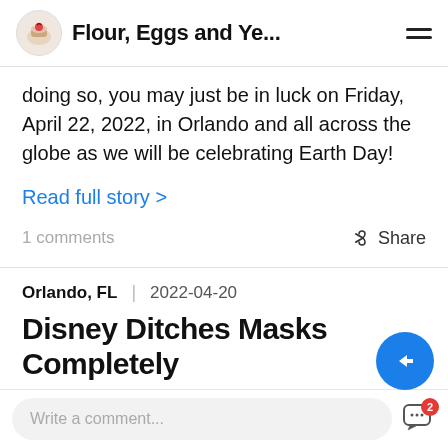Flour, Eggs and Ye...
doing so, you may just be in luck on Friday, April 22, 2022, in Orlando and all across the globe as we will be celebrating Earth Day!
Read full story >
1 comments
Share
Orlando, FL  |  2022-04-20
Disney Ditches Masks Completely
Write a comment...